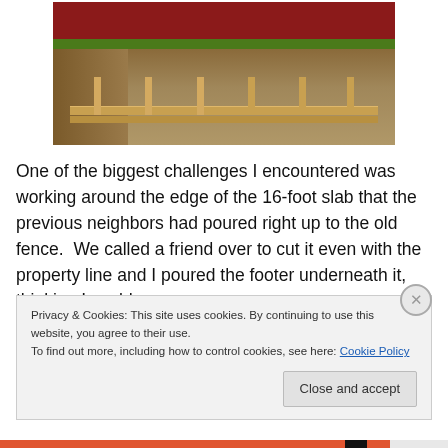[Figure (photo): Construction photo showing a trench with wooden form boards and stakes along the edge of a property, with a red fence or barrier in the background and grass visible at top.]
One of the biggest challenges I encountered was working around the edge of the 16-foot slab that the previous neighbors had poured right up to the old fence.  We called a friend over to cut it even with the property line and I poured the footer underneath it, thinking I could
Privacy & Cookies: This site uses cookies. By continuing to use this website, you agree to their use.
To find out more, including how to control cookies, see here: Cookie Policy
Close and accept